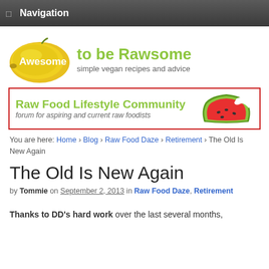Navigation
[Figure (logo): Awesome to be Rawsome logo with yellow mango fruit and green/grey text. Tagline: simple vegan recipes and advice]
[Figure (illustration): Raw Food Lifestyle Community banner ad with watermelon slice image. Text: Raw Food Lifestyle Community, forum for aspiring and current raw foodists. Red border.]
You are here: Home › Blog › Raw Food Daze › Retirement › The Old Is New Again
The Old Is New Again
by Tommie on September 2, 2013 in Raw Food Daze, Retirement
Thanks to DD's hard work over the last several months,